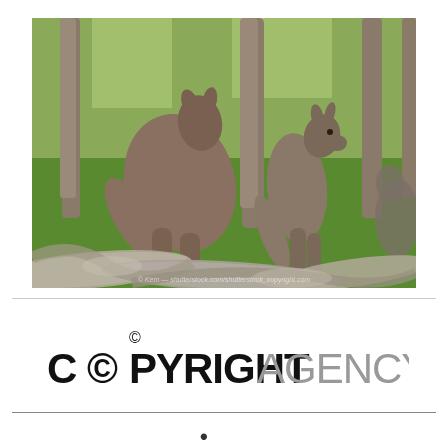[Figure (photo): Photograph of two kangaroos standing among trees on green grass in a woodland setting, with fallen branches and logs in the foreground (blurred). A watermark is visible at the bottom of the image.]
[Figure (logo): Copyright Agency logo: a copyright symbol above the text 'COPYRIGHT' in bold black followed by 'AGENCY' in gray]
•